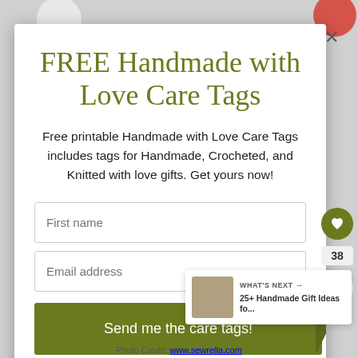FREE Handmade with Love Care Tags
Free printable Handmade with Love Care Tags includes tags for Handmade, Crocheted, and Knitted with love gifts. Get yours now!
First name
Email address
Send me the care tags!
WHAT'S NEXT → 25+ Handmade Gift Ideas fo...
Photo Credit: www.sewrella.com